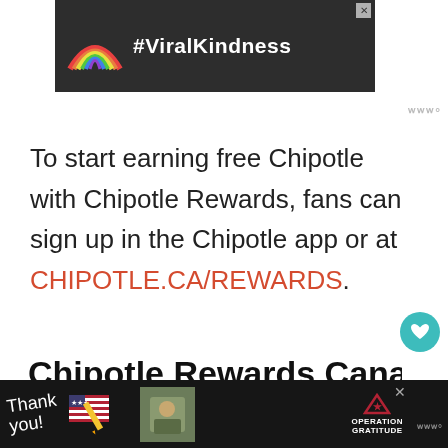[Figure (screenshot): Advertisement banner with dark background showing a rainbow chalk drawing and '#ViralKindness' text in white]
To start earning free Chipotle with Chipotle Rewards, fans can sign up in the Chipotle app or at CHIPOTLE.CA/REWARDS.
Chipotle Rewards Canada
[Figure (screenshot): Advertisement banner with dark background showing 'Thank you!' text and Operation Gratitude logo]